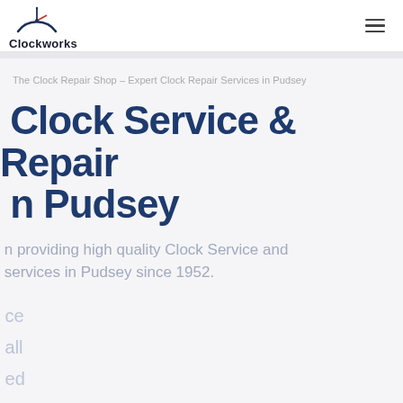[Figure (logo): Clockworks logo with clock arc graphic and company name text]
The Clock Repair Shop – Expert Clock Repair Services in Pudsey
Clock Service & Repair in Pudsey
providing high quality Clock Service and services in Pudsey since 1952.
ice
all
ed